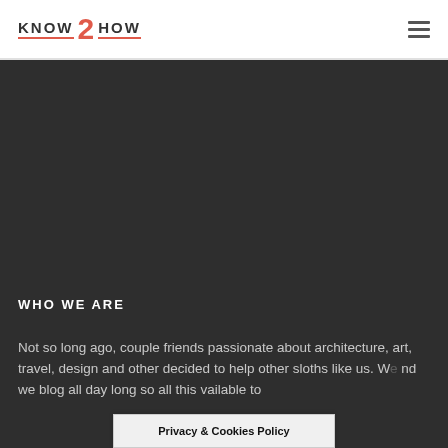KNOW 2 HOW
[Figure (other): Dark gray background hero area, no visible image content]
WHO WE ARE
Not so long ago, couple friends passionate about architecture, art, travel, design and other decided to help other sloths like us. We … and we blog all day long so all this … vailable to
Privacy & Cookies Policy